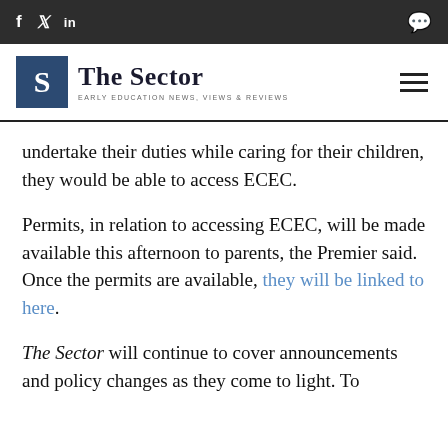f  t  in   [comment icon]
[Figure (logo): The Sector logo — blue square with S, text 'The Sector', subtitle 'EARLY EDUCATION NEWS, VIEWS & REVIEWS', hamburger menu icon]
undertake their duties while caring for their children, they would be able to access ECEC.
Permits, in relation to accessing ECEC, will be made available this afternoon to parents, the Premier said. Once the permits are available, they will be linked to here.
The Sector will continue to cover announcements and policy changes as they come to light. To